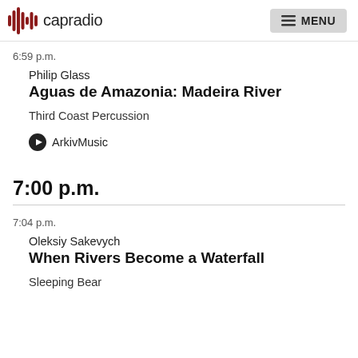capradio | MENU
6:59 p.m.
Philip Glass
Aguas de Amazonia: Madeira River
Third Coast Percussion
ArkivMusic
7:00 p.m.
7:04 p.m.
Oleksiy Sakevych
When Rivers Become a Waterfall
Sleeping Bear